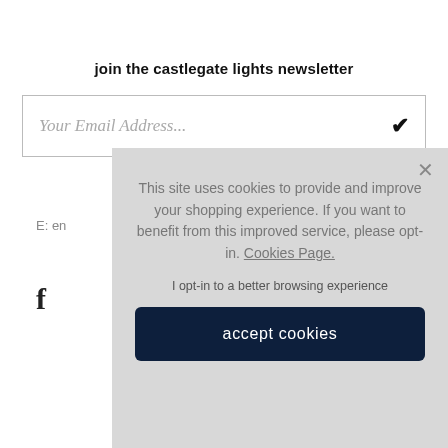join the castlegate lights newsletter
Your Email Address...
E: en
f
This site uses cookies to provide and improve your shopping experience. If you want to benefit from this improved service, please opt-in. Cookies Page.
I opt-in to a better browsing experience
accept cookies
delivery